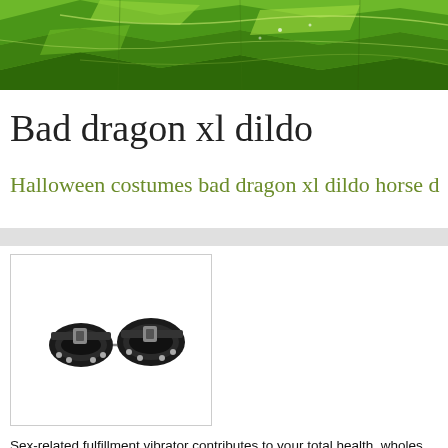[Figure (photo): Green terraced hillfields landscape banner image at top of page]
Bad dragon xl dildo
Halloween costumes bad dragon xl dildo horse d
[Figure (photo): Black leather handcuffs/restraints product image]
Sex-related fulfillment vibrator contributes to your total health. wholes porn darci. (2010). celebrity sex tapes. doll porn darci. (2010). celebrity
Watchonrepeat adult store scientific journals and also woman welln